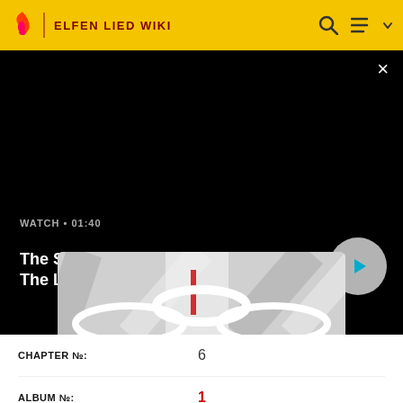ELFEN LIED WIKI
[Figure (screenshot): Black video player panel with close button (×) in top-right corner showing a mostly black video with a thumbnail strip at the bottom showing an anime character in grayscale]
WATCH • 01:40
The Sandman Will Keep You Awake - The Loop
| CHAPTER №: | 6 |
| ALBUM №: | 1 |